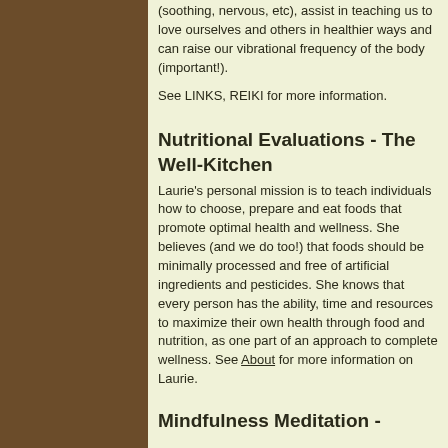(soothing, nervous, etc), assist in teaching us to love ourselves and others in healthier ways and can raise our vibrational frequency of the body (important!).
See LINKS, REIKI for more information.
Nutritional Evaluations - The Well-Kitchen
Laurie's personal mission is to teach individuals how to choose, prepare and eat foods that promote optimal health and wellness. She believes (and we do too!) that foods should be minimally processed and free of artificial ingredients and pesticides. She knows that every person has the ability, time and resources to maximize their own health through food and nutrition, as one part of an approach to complete wellness. See About for more information on Laurie.
Mindfulness Meditation -